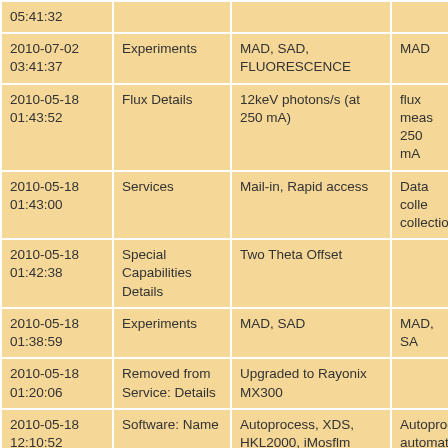| Date/Time | Category | Details | Extra |
| --- | --- | --- | --- |
| 05:41:32 |  |  |  |
| 2010-07-02 03:41:37 | Experiments | MAD, SAD, FLUORESCENCE | MAD |
| 2010-05-18 01:43:52 | Flux Details | 12keV photons/s (at 250 mA) | flux meas 250 mA |
| 2010-05-18 01:43:00 | Services | Mail-in, Rapid access | Data coll collection |
| 2010-05-18 01:42:38 | Special Capabilities Details | Two Theta Offset |  |
| 2010-05-18 01:38:59 | Experiments | MAD, SAD | MAD, SA |
| 2010-05-18 01:20:06 | Removed from Service: Details | Upgraded to Rayonix MX300 |  |
| 2010-05-18 12:10:52 | Software: Name | Autoprocess, XDS, HKL2000, iMosflm | Autoproc automati XDS, HK |
| 2010-05-18 | Hardware | Del Precsion 360 | Del Precs workstati |